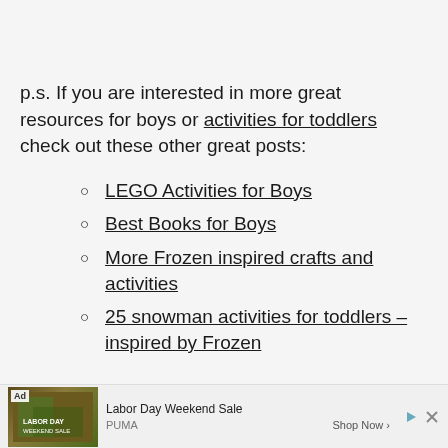p.s. If you are interested in more great resources for boys or activities for toddlers check out these other great posts:
LEGO Activities for Boys
Best Books for Boys
More Frozen inspired crafts and activities
25 snowman activities for toddlers – inspired by Frozen
[Figure (infographic): Advertisement banner for Puma Labor Day Weekend Sale showing 'Ad' label, product image, 'Labor Day Weekend Sale' text, PUMA brand name, and 'Shop Now >' call to action with close/skip controls.]